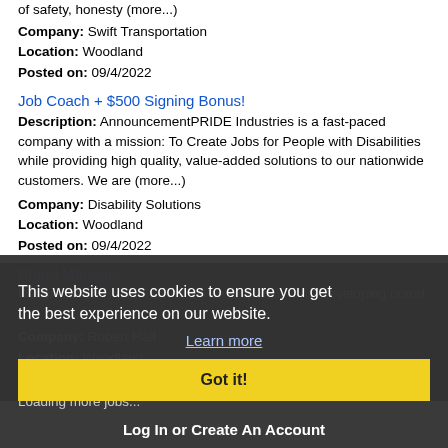of safety, honesty (more...)
Company: Swift Transportation
Location: Woodland
Posted on: 09/4/2022
Job Coach + $500 Signing Bonus!
Description: AnnouncementPRIDE Industries is a fast-paced company with a mission: To Create Jobs for People with Disabilities while providing high quality, value-added solutions to our nationwide customers. We are (more...)
Company: Disability Solutions
Location: Woodland
Posted on: 09/4/2022
Brand Manager
Description: The individual will be responsible for developing brand s...
Company: Robert Half
Location: Woodland
Posted on: 09/4/2022
Loading more jobs...
This website uses cookies to ensure you get the best experience on our website. Learn more  Got it!
Log In or Create An Account